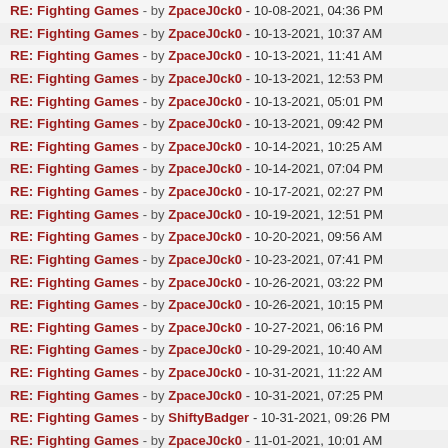RE: Fighting Games - by ZpaceJ0ck0 - 10-08-2021, 04:36 PM
RE: Fighting Games - by ZpaceJ0ck0 - 10-13-2021, 10:37 AM
RE: Fighting Games - by ZpaceJ0ck0 - 10-13-2021, 11:41 AM
RE: Fighting Games - by ZpaceJ0ck0 - 10-13-2021, 12:53 PM
RE: Fighting Games - by ZpaceJ0ck0 - 10-13-2021, 05:01 PM
RE: Fighting Games - by ZpaceJ0ck0 - 10-13-2021, 09:42 PM
RE: Fighting Games - by ZpaceJ0ck0 - 10-14-2021, 10:25 AM
RE: Fighting Games - by ZpaceJ0ck0 - 10-14-2021, 07:04 PM
RE: Fighting Games - by ZpaceJ0ck0 - 10-17-2021, 02:27 PM
RE: Fighting Games - by ZpaceJ0ck0 - 10-19-2021, 12:51 PM
RE: Fighting Games - by ZpaceJ0ck0 - 10-20-2021, 09:56 AM
RE: Fighting Games - by ZpaceJ0ck0 - 10-23-2021, 07:41 PM
RE: Fighting Games - by ZpaceJ0ck0 - 10-26-2021, 03:22 PM
RE: Fighting Games - by ZpaceJ0ck0 - 10-26-2021, 10:15 PM
RE: Fighting Games - by ZpaceJ0ck0 - 10-27-2021, 06:16 PM
RE: Fighting Games - by ZpaceJ0ck0 - 10-29-2021, 10:40 AM
RE: Fighting Games - by ZpaceJ0ck0 - 10-31-2021, 11:22 AM
RE: Fighting Games - by ZpaceJ0ck0 - 10-31-2021, 07:25 PM
RE: Fighting Games - by ShiftyBadger - 10-31-2021, 09:26 PM
RE: Fighting Games - by ZpaceJ0ck0 - 11-01-2021, 10:01 AM
RE: Fighting Games - by ZpaceJ0ck0 - 11-01-2021, 11:43 AM
RE: Fighting Games - by ZpaceJ0ck0 - 11-04-2021, 03:58 PM
RE: Fighting Games - by ZpaceJ0ck0 - 11-05-2021, 10:01 PM
RE: Fighting Games - by ZpaceJ0ck0 - 11-06-2021, 10:39 AM
RE: Fighting Games - by ZpaceJ0ck0 - 11-10-2021, 10:40 PM